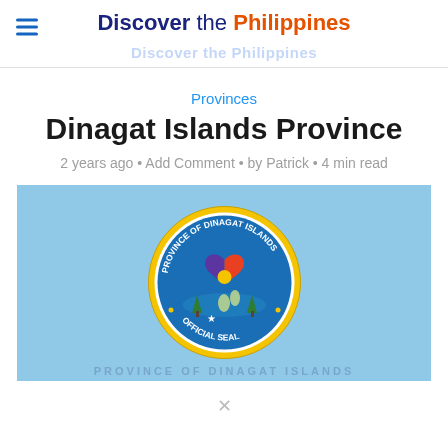Discover the Philippines
Provinces
Dinagat Islands Province
2 years ago • Add Comment • by Patrick • 4 min read
[Figure (photo): Official seal of the Province of Dinagat Islands on a light blue background banner]
PROVINCE OF DINAGAT ISLANDS